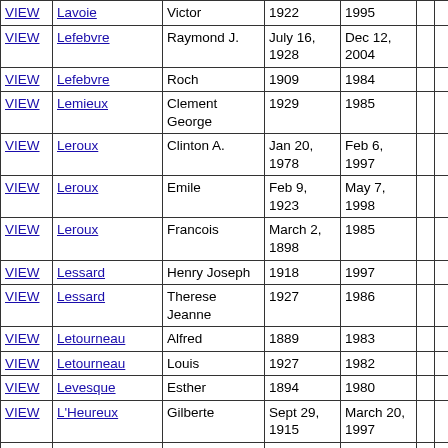|  | Last Name | First Name | Birth | Death |  |  |
| --- | --- | --- | --- | --- | --- | --- |
| VIEW | Lavoie | Victor | 1922 | 1995 |  |  |
| VIEW | Lefebvre | Raymond J. | July 16, 1928 | Dec 12, 2004 |  |  |
| VIEW | Lefebvre | Roch | 1909 | 1984 |  |  |
| VIEW | Lemieux | Clement George | 1929 | 1985 |  |  |
| VIEW | Leroux | Clinton A. | Jan 20, 1978 | Feb 6, 1997 |  |  |
| VIEW | Leroux | Emile | Feb 9, 1923 | May 7, 1998 |  |  |
| VIEW | Leroux | Francois | March 2, 1898 | 1985 |  |  |
| VIEW | Lessard | Henry Joseph | 1918 | 1997 |  |  |
| VIEW | Lessard | Therese Jeanne | 1927 | 1986 |  |  |
| VIEW | Letourneau | Alfred | 1889 | 1983 |  |  |
| VIEW | Letourneau | Louis | 1927 | 1982 |  |  |
| VIEW | Levesque | Esther | 1894 | 1980 |  |  |
| VIEW | L'Heureux | Gilberte | Sept 29, 1915 | March 20, 1997 |  |  |
| VIEW | Litwinski | Helen | Dec 27, 1940 | Dec 11, 1999 |  |  |